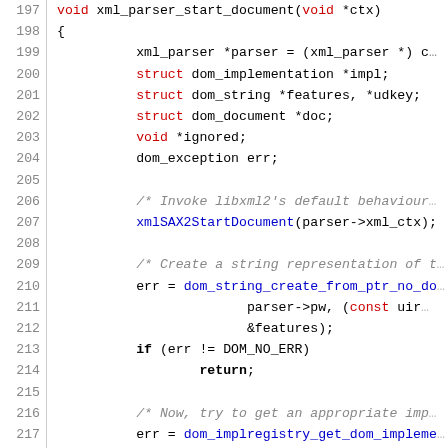[Figure (screenshot): Source code listing in C showing function xml_parser_start_document, lines 197-226, with syntax highlighting: keywords in red/blue, function calls in blue, comments in gray italic, bold keywords like 'if', 'return', 'struct', 'void'.]